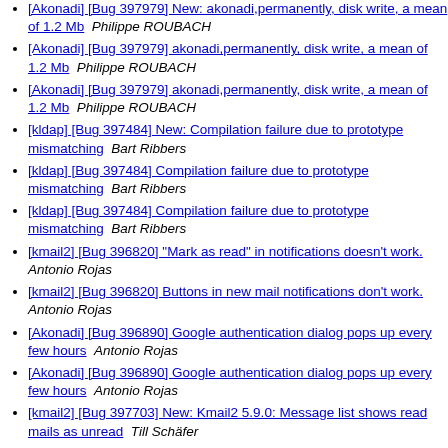[Akonadi] [Bug 397979] New: akonadi,permanently, disk write, a mean of 1.2 Mb  Philippe ROUBACH
[Akonadi] [Bug 397979] akonadi,permanently, disk write, a mean of 1.2 Mb  Philippe ROUBACH
[Akonadi] [Bug 397979] akonadi,permanently, disk write, a mean of 1.2 Mb  Philippe ROUBACH
[kldap] [Bug 397484] New: Compilation failure due to prototype mismatching  Bart Ribbers
[kldap] [Bug 397484] Compilation failure due to prototype mismatching  Bart Ribbers
[kldap] [Bug 397484] Compilation failure due to prototype mismatching  Bart Ribbers
[kmail2] [Bug 396820] "Mark as read" in notifications doesn't work.  Antonio Rojas
[kmail2] [Bug 396820] Buttons in new mail notifications don't work.  Antonio Rojas
[Akonadi] [Bug 396890] Google authentication dialog pops up every few hours  Antonio Rojas
[Akonadi] [Bug 396890] Google authentication dialog pops up every few hours  Antonio Rojas
[kmail2] [Bug 397703] New: Kmail2 5.9.0: Message list shows read mails as unread  Till Schäfer
[kmail2] [Bug 397703] Kmail2 5.9.0: Message list shows read mails as unread  Till Schäfer
[korganizer] [Bug 391769] KOrganizer 5.7.3: Incident times